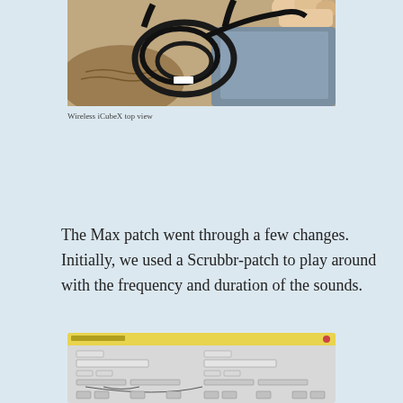[Figure (photo): Top-down photo of black cables/cords and a person's hand holding them on a textured surface — Wireless iCubeX top view]
Wireless iCubeX top view
The Max patch went through a few changes. Initially, we used a Scrubbr-patch to play around with the frequency and duration of the sounds.
[Figure (screenshot): Screenshot of a Max/MSP patch with yellow header bar, showing interconnected nodes, sliders, and signal routing on a light grey background]